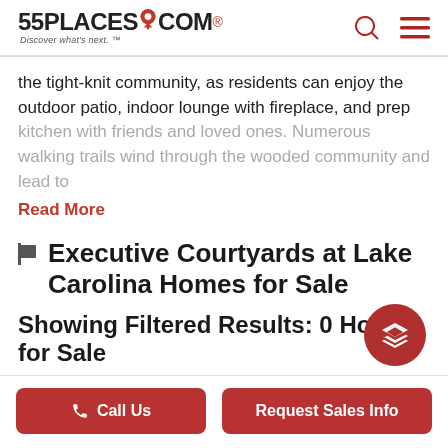55PLACES.COM — Discover what's next.
the tight-knit community, as residents can enjoy the outdoor patio, indoor lounge with fireplace, and prep kitchen with friends and loved ones. Numerous walking trails wind through the wooded community and lead to
Read More
Executive Courtyards at Lake Carolina Homes for Sale
Showing Filtered Results: 0 Homes for Sale
Call Us
Request Sales Info